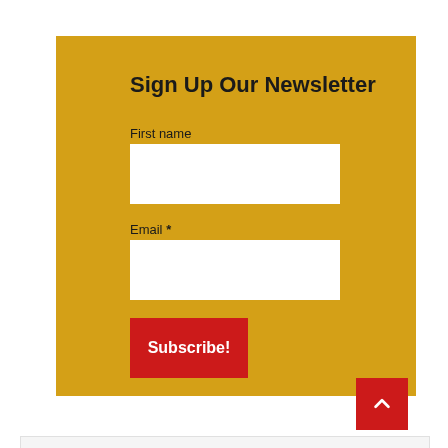Sign Up Our Newsletter
First name
Email *
Subscribe!
[Figure (other): Red scroll-to-top button with upward chevron arrow]